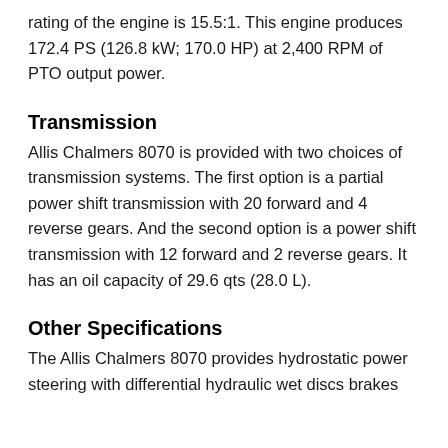rating of the engine is 15.5:1. This engine produces 172.4 PS (126.8 kW; 170.0 HP) at 2,400 RPM of PTO output power.
Transmission
Allis Chalmers 8070 is provided with two choices of transmission systems. The first option is a partial power shift transmission with 20 forward and 4 reverse gears. And the second option is a power shift transmission with 12 forward and 2 reverse gears. It has an oil capacity of 29.6 qts (28.0 L).
Other Specifications
The Allis Chalmers 8070 provides hydrostatic power steering with differential hydraulic wet discs brakes